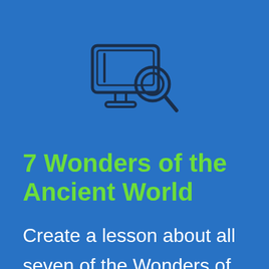[Figure (illustration): Line-art icon of a computer monitor with a magnifying glass overlaid on the screen, drawn in dark navy/charcoal strokes on a blue background]
7 Wonders of the Ancient World
Create a lesson about all seven of the Wonders of the Ancient World, or have students